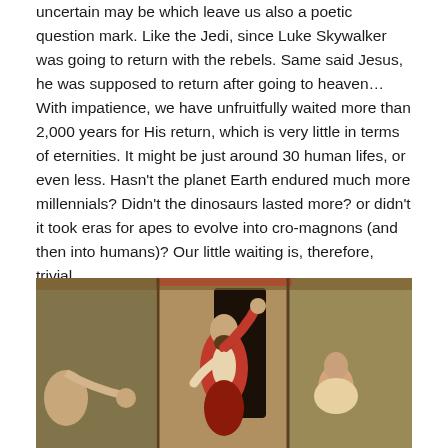uncertain  may be  which leave us also a poetic question mark. Like the Jedi, since Luke Skywalker was going to return with the rebels. Same said Jesus, he was supposed to return after going to heaven… With impatience, we have unfruitfully waited more than 2,000 years for His return, which is very little in terms of eternities. It might be just around 30 human lifes, or even less. Hasn't the planet Earth endured much more millennials? Didn't the dinosaurs lasted more? or didn't it took eras for apes to evolve into cro-magnons (and then into humans)? Our little waiting is, therefore, trivial.
[Figure (photo): A painting or tapestry depicting a religious scene, likely the Resurrection of Jesus Christ. A central figure in red and white robes with raised arm stands near a dark doorway or tomb entrance, flanked by other figures on either side against an ornate decorative background.]